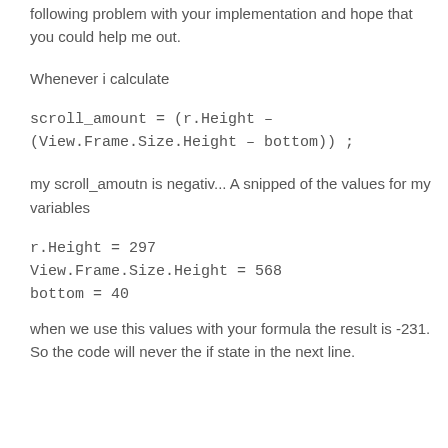following problem with your implementation and hope that you could help me out.
Whenever i calculate
scroll_amount = (r.Height – (View.Frame.Size.Height – bottom)) ;
my scroll_amoutn is negativ... A snipped of the values for my variables
r.Height = 297
View.Frame.Size.Height = 568
bottom = 40
when we use this values with your formula the result is -231. So the code will never the if state in the next line.